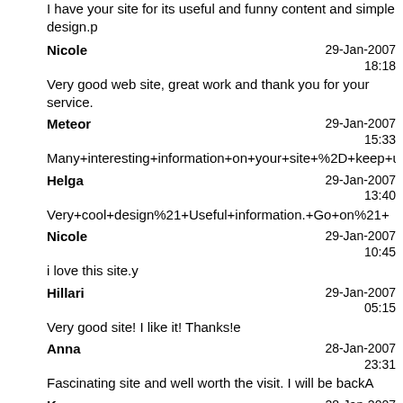I have your site for its useful and funny content and simple design.p
Nicole | 29-Jan-2007 18:18 | Very good web site, great work and thank you for your service.
Meteor | 29-Jan-2007 15:33 | Many+interesting+information+on+your+site+%2D+keep+up+good+w
Helga | 29-Jan-2007 13:40 | Very+cool+design%21+Useful+information.+Go+on%21+
Nicole | 29-Jan-2007 10:45 | i love this site.y
Hillari | 29-Jan-2007 05:15 | Very good site! I like it! Thanks!e
Anna | 28-Jan-2007 23:31 | Fascinating site and well worth the visit. I will be backA
Keno | 28-Jan-2007 23:25 | I browse and saw you website and I found it very interesting.The...